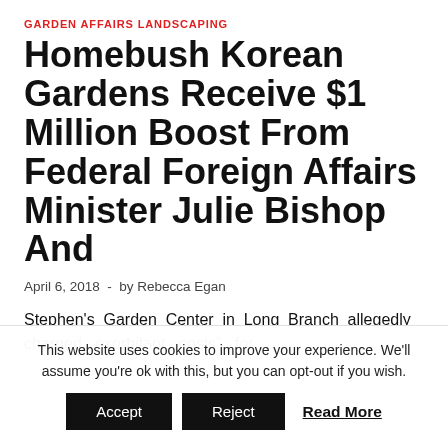GARDEN AFFAIRS LANDSCAPING
Homebush Korean Gardens Receive $1 Million Boost From Federal Foreign Affairs Minister Julie Bishop And
April 6, 2018  -  by Rebecca Egan
Stephen's Garden Center in Long Branch allegedly charged exorbitant costs" for
This website uses cookies to improve your experience. We'll assume you're ok with this, but you can opt-out if you wish.